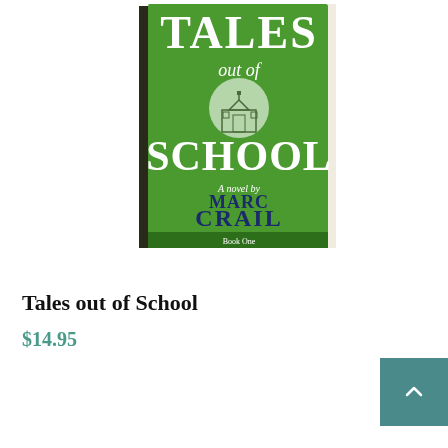[Figure (illustration): Book cover of 'Tales out of School' by Marc Crail. Green hardcover book shown in 3D perspective. White text reads 'TALES out of SCHOOL' with a circular school building icon. Dark navy text reads 'A novel by MARC CRAIL' and 'Book One' at the bottom.]
Tales out of School
$14.95
ADD TO CART